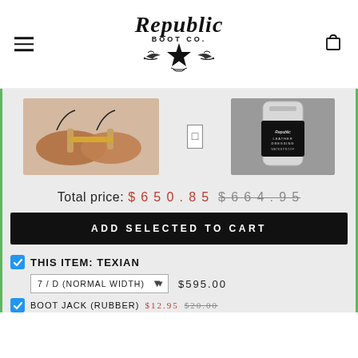[Figure (logo): Republic Boot Co. logo with cursive Republic text, BOOT CO. subtitle, and star with decorative flourishes]
[Figure (photo): Two cedar shoe trees with brass hardware and black strings]
[Figure (photo): Republic Boot Co. Leather Dressing product in silver aluminum bottle]
Total price: $650.85 $664.95
ADD SELECTED TO CART
THIS ITEM: TEXIAN
7 / D (NORMAL WIDTH) $595.00
BOOT JACK (RUBBER) $12.95 $20.00